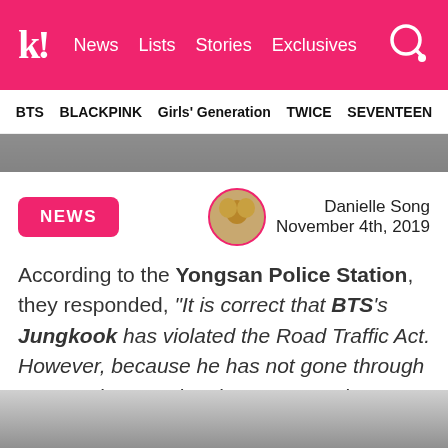k! News  Lists  Stories  Exclusives
BTS  BLACKPINK  Girls' Generation  TWICE  SEVENTEEN
[Figure (photo): Partial photo strip at top of article]
NEWS
Danielle Song  November 4th, 2019
According to the Yongsan Police Station, they responded, “It is correct that BTS’s Jungkook has violated the Road Traffic Act. However, because he has not gone through prosecution yet, the charges may change, so we cannot confirm anything yet.”
[Figure (photo): Bottom photo partially visible at bottom of page]